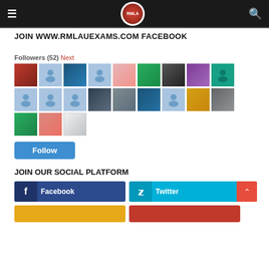≡  [logo]  🔍
JOIN WWW.RMLAUEXAMS.COM FACEBOOK
Followers (52) Next
[Figure (photo): Grid of 21 follower avatar thumbnails — mix of real profile photos and placeholder silhouette icons on light blue background]
Follow
JOIN OUR SOCIAL PLATFORM
Facebook
Twitter